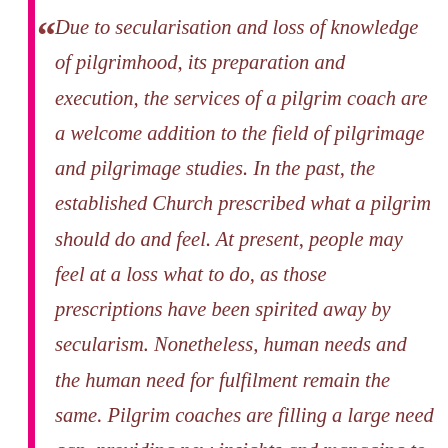Due to secularisation and loss of knowledge of pilgrimhood, its preparation and execution, the services of a pilgrim coach are a welcome addition to the field of pilgrimage and pilgrimage studies. In the past, the established Church prescribed what a pilgrim should do and feel. At present, people may feel at a loss what to do, as those prescriptions have been spirited away by secularism. Nonetheless, human needs and the human need for fulfilment remain the same. Pilgrim coaches are filling a large need gap, providing new insights and managing to give old remedies new relevance. Since psychology and health